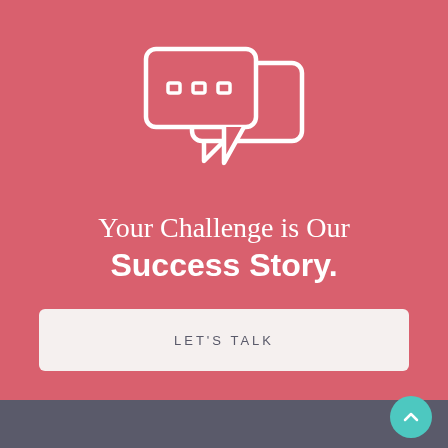[Figure (illustration): Two overlapping speech bubble icons with three dots (ellipsis) inside, drawn in white outline style on a pink/red background.]
Your Challenge is Our Success Story.
LET'S TALK